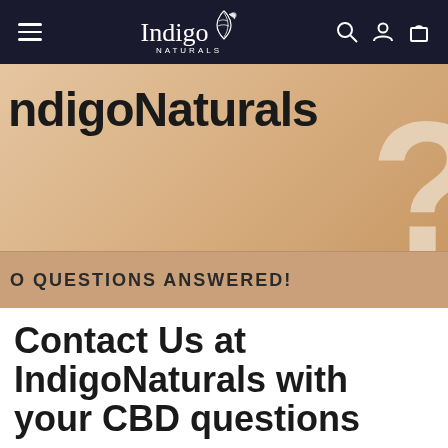Indigo Naturals — navigation bar with hamburger menu, logo, search, account, and cart icons
[Figure (photo): Hero image with warm beige/peach background showing 'IndigoNaturals' bold text and a large question mark shape on the right, with a banner at the bottom reading 'O QUESTIONS ANSWERED!']
Contact Us at IndigoNaturals with your CBD questions